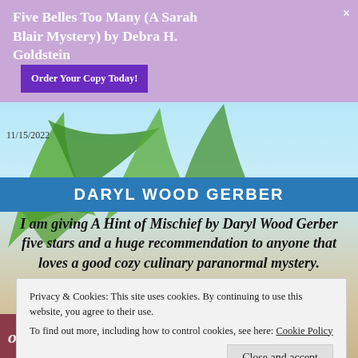Five Belles Too Many (A Sarah Blair Mystery) by Debra H. Goldstein
Order Your Copy Today!
11/15/2022
DARYL WOOD GERBER
I am giving A Hint of Mischief by Daryl Wood Gerber five stars and a huge recommendation to anyone that loves a good cozy culinary paranormal mystery.
Privacy & Cookies: This site uses cookies. By continuing to use this website, you agree to their use.
To find out more, including how to control cookies, see here: Cookie Policy
Close and accept
[Figure (photo): Partial view of a book cover for 'A Hint of Mischief' with colorful floral imagery]